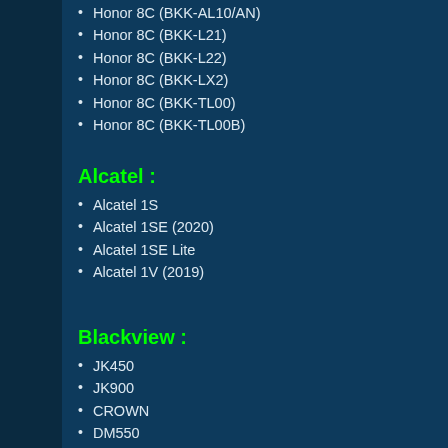Honor 8C (BKK-AL10/AN)
Honor 8C (BKK-L21)
Honor 8C (BKK-L22)
Honor 8C (BKK-LX2)
Honor 8C (BKK-TL00)
Honor 8C (BKK-TL00B)
Alcatel :
Alcatel 1S
Alcatel 1SE (2020)
Alcatel 1SE Lite
Alcatel 1V (2019)
Blackview :
JK450
JK900
CROWN
DM550
ARROW
V3
ULTRA
OMEGA
ACME
BREEZE
ZETA
ALIFE P1 PRO